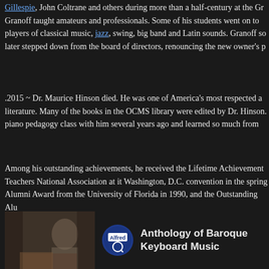Gillespie, John Coltrane and others during more than a half-century at the Gr... Granoff taught amateurs and professionals. Some of his students went on to players of classical music, jazz, swing, big band and Latin sounds. Granoff so later stepped down from the board of directors, renouncing the new owner's p...
.2015 ~ Dr. Maurice Hinson died. He was one of America's most respected au literature. Many of the books in the OCMS library were edited by Dr. Hinson. piano pedagogy class with him several years ago and learned so much from
Among his outstanding achievements, he received the Lifetime Achievement Teachers National Association at it Washington, D.C. convention in the spring Alumni Award from the University of Florida in 1990, and the Outstanding Alu University of Michigan in the fall of 1995. Dr. Hinson has performed, lectured worldwide. His books and editions have become classic standards in the stud teachers and students the world over. He was awarded the Franz Liszt Meda Government in 1986. Hailed as a specialist in American piano music, some o appear in the New Grove Dictionary of American Music in the United States.
[Figure (screenshot): Video thumbnail showing Alfred publisher logo and title 'Anthology of Baroque Keyboard Music' with a partial image of a person in the background]